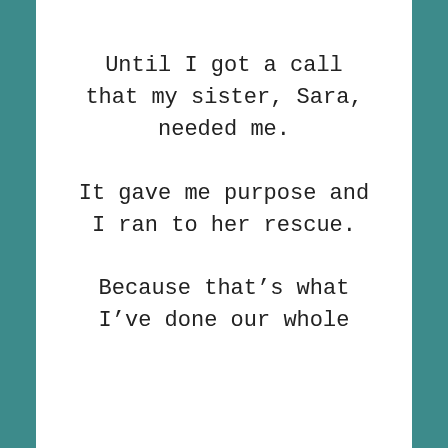Until I got a call that my sister, Sara, needed me.
It gave me purpose and I ran to her rescue.
Because that’s what I’ve done our whole